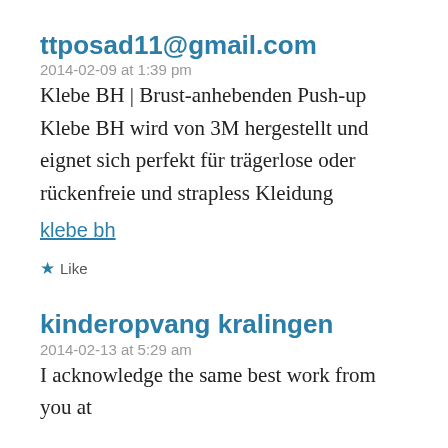ttposad11@gmail.com
2014-02-09 at 1:39 pm
Klebe BH | Brust-anhebenden Push-up Klebe BH wird von 3M hergestellt und eignet sich perfekt für trägerlose oder rückenfreie und strapless Kleidung
klebe bh
Like
kinderopvang kralingen
2014-02-13 at 5:29 am
I acknowledge the same best work from you at